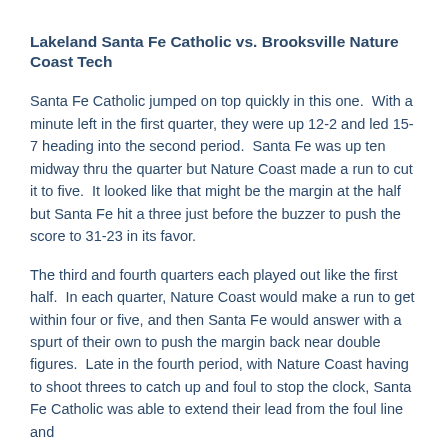Lakeland Santa Fe Catholic vs. Brooksville Nature Coast Tech
Santa Fe Catholic jumped on top quickly in this one.  With a minute left in the first quarter, they were up 12-2 and led 15-7 heading into the second period.  Santa Fe was up ten midway thru the quarter but Nature Coast made a run to cut it to five.  It looked like that might be the margin at the half but Santa Fe hit a three just before the buzzer to push the score to 31-23 in its favor.
The third and fourth quarters each played out like the first half.  In each quarter, Nature Coast would make a run to get within four or five, and then Santa Fe would answer with a spurt of their own to push the margin back near double figures.  Late in the fourth period, with Nature Coast having to shoot threes to catch up and foul to stop the clock, Santa Fe Catholic was able to extend their lead from the foul line and